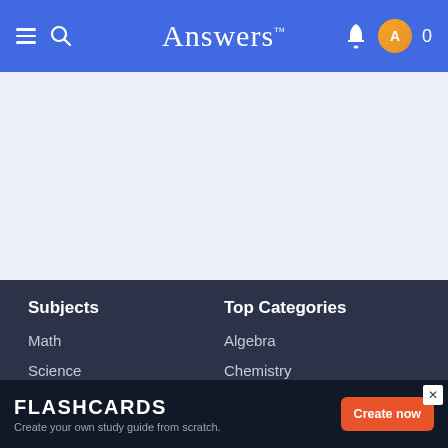Answers
Subjects
Math
Science
History
Top Categories
Algebra
Chemistry
Biology
FLASHCARDS
Create your own study guide from scratch.
Create now